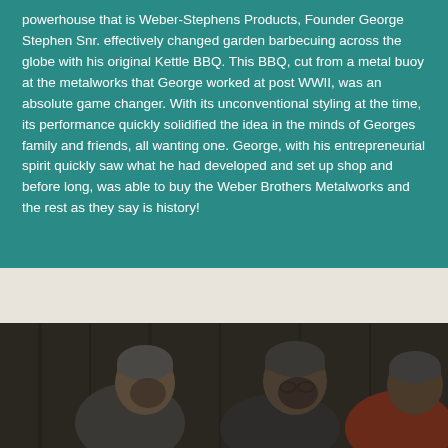powerhouse that is Weber-Stephens Products, Founder George Stephen Snr. effectively changed garden barbecuing across the globe with his original Kettle BBQ. This BBQ, cut from a metal buoy at the metalworks that George worked at post WWII, was an absolute game changer. With its unconventional styling at the time, its performance quickly solidified the idea in the minds of Georges family and friends, all wanting one. George, with his entrepreneurial spirit quickly saw what he had developed and set up shop and before long, was able to buy the Weber Brothers Metalworks and the rest as they say is history!
[Figure (photo): Black and white or dark-toned photograph showing three people wearing winter hats/beanies, appearing to be leaning or crouching, photographed from the side/front in an outdoor or dimly lit setting.]